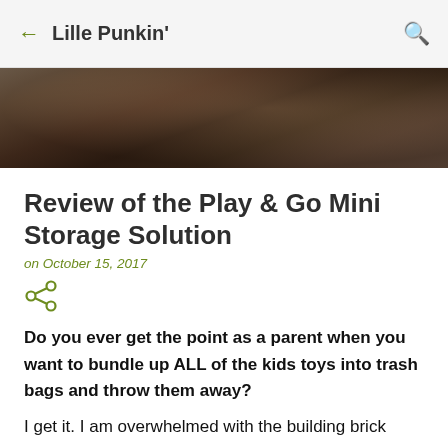← Lille Punkin'
[Figure (photo): Blurred dark background hero image, appears to show a dark room or objects, used as article header image]
Review of the Play & Go Mini Storage Solution
on October 15, 2017
[Figure (other): Share icon (network/share symbol in olive green)]
Do you ever get the point as a parent when you want to bundle up ALL of the kids toys into trash bags and throw them away?
I get it. I am overwhelmed with the building brick